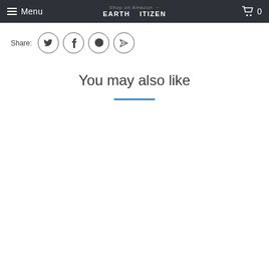Menu | EARTHCITIZEN | 0
Share:
You may also like